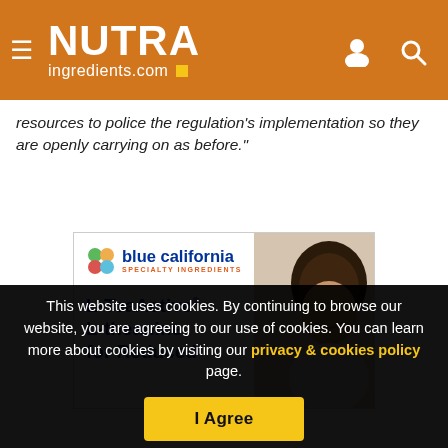NUTRA ingredients.com
resources to police the regulation's implementation so they are openly carrying on as before."
[Figure (illustration): Blue California Specialty Ingredients advertisement for L-TeaActive L-theanine for Reduced, with logo, green diagonal stripe, and photo of smiling woman with dark hair]
This website uses cookies. By continuing to browse our website, you are agreeing to our use of cookies. You can learn more about cookies by visiting our privacy & cookies policy page.
I Agree